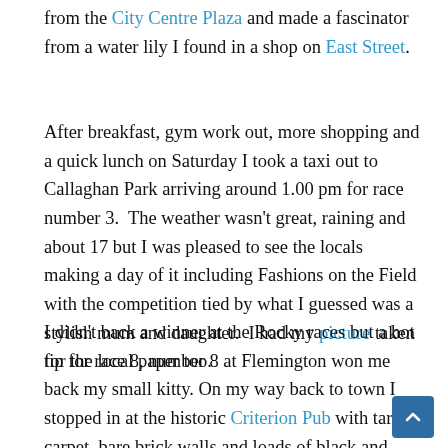from the City Centre Plaza and made a fascinator from a water lily I found in a shop on East Street.
After breakfast, gym work out, more shopping and a quick lunch on Saturday I took a taxi out to Callaghan Park arriving around 1.00 pm for race number 3.  The weather wasn't great, raining and about 17 but I was pleased to see the locals making a day of it including Fashions on the Field with the competition tied by what I guessed was a stylish mum and daughter.  I had my picture taken for the local paper too.
I didn't back a winner at the Rocky races but a hot tip for race 8, number 8 at Flemington won me back my small kitty. On my way back to town I stopped in at the historic Criterion Pub with tartan carpet, bare brick walls and loads of black and white photos covering sport, news and local events.